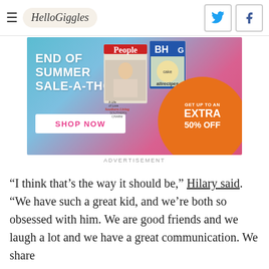HelloGiggles
[Figure (infographic): End of Summer Sale-A-Thon advertisement with Shop Now button, magazine covers (People, Southern Living, BH&G, allrecipes), and orange circle saying GET UP TO AN EXTRA 50% OFF]
ADVERTISEMENT
“I think that’s the way it should be,” Hilary said. “We have such a great kid, and we’re both so obsessed with him. We are good friends and we laugh a lot and we have a great communication. We share